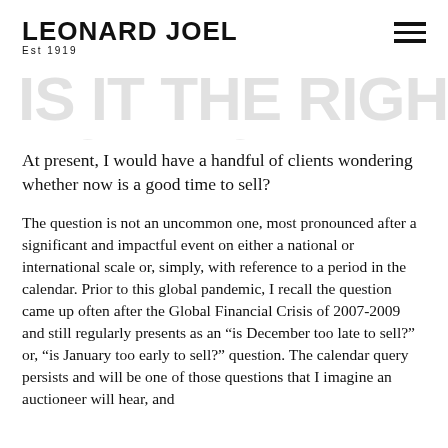LEONARD JOEL Est 1919
[Figure (other): Large watermark/background text reading 'IS IT THE RIGHT TIME TO SELL' in bold grey letters]
At present, I would have a handful of clients wondering whether now is a good time to sell?
The question is not an uncommon one, most pronounced after a significant and impactful event on either a national or international scale or, simply, with reference to a period in the calendar. Prior to this global pandemic, I recall the question came up often after the Global Financial Crisis of 2007-2009 and still regularly presents as an “is December too late to sell?” or, “is January too early to sell?” question. The calendar query persists and will be one of those questions that I imagine an auctioneer will hear, and